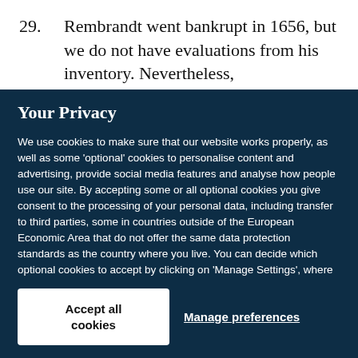29. Rembrandt went bankrupt in 1656, but we do not have evaluations from his inventory. Nevertheless,
Your Privacy
We use cookies to make sure that our website works properly, as well as some ‘optional’ cookies to personalise content and advertising, provide social media features and analyse how people use our site. By accepting some or all optional cookies you give consent to the processing of your personal data, including transfer to third parties, some in countries outside of the European Economic Area that do not offer the same data protection standards as the country where you live. You can decide which optional cookies to accept by clicking on ‘Manage Settings’, where you can also find more information about how your personal data is processed. Further information can be found in our privacy policy.
Accept all cookies
Manage preferences